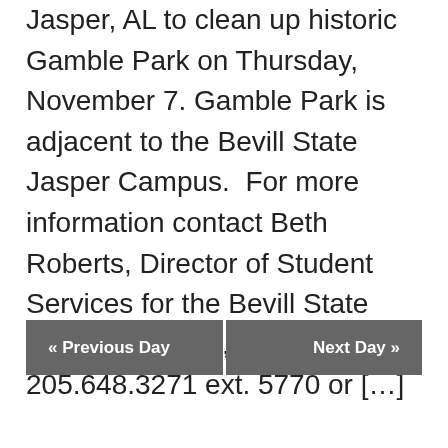Jasper, AL to clean up historic Gamble Park on Thursday, November 7. Gamble Park is adjacent to the Bevill State Jasper Campus.  For more information contact Beth Roberts, Director of Student Services for the Bevill State Jasper Campus, at 205.648.3271 ext. 5770 or […]
Find out more »
« Previous Day    Next Day »